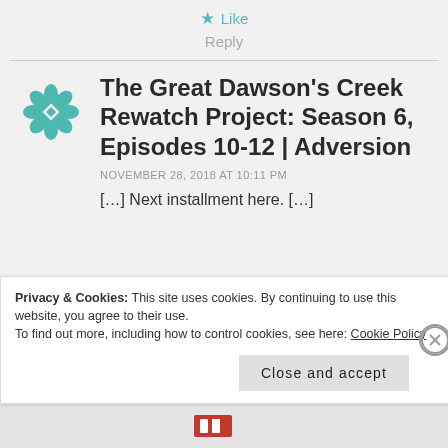★ Like
Reply
The Great Dawson's Creek Rewatch Project: Season 6, Episodes 10-12 | Adversion
NOVEMBER 28, 2018 AT 10:11 PM
[…] Next installment here. […]
Privacy & Cookies: This site uses cookies. By continuing to use this website, you agree to their use. To find out more, including how to control cookies, see here: Cookie Policy
Close and accept